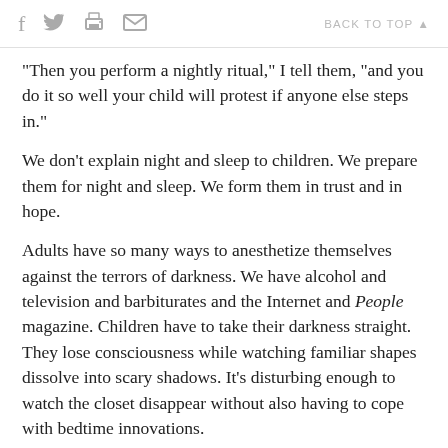f  [twitter]  [print]  [mail]    BACK TO TOP ▲
"Then you perform a nightly ritual," I tell them, "and you do it so well your child will protest if anyone else steps in."
We don't explain night and sleep to children. We prepare them for night and sleep. We form them in trust and in hope.
Adults have so many ways to anesthetize themselves against the terrors of darkness. We have alcohol and television and barbiturates and the Internet and People magazine. Children have to take their darkness straight. They lose consciousness while watching familiar shapes dissolve into scary shadows. It's disturbing enough to watch the closet disappear without also having to cope with bedtime innovations.
The nighttime routine is sometimes all that holds the fears from surrounding and overwhelming them. This